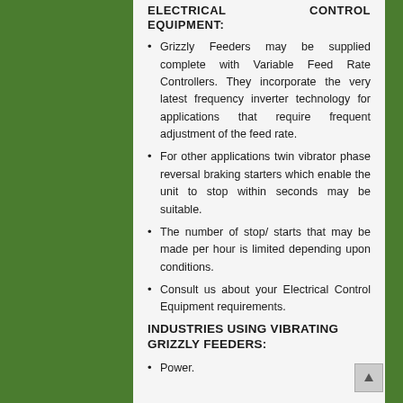ELECTRICAL CONTROL EQUIPMENT:
Grizzly Feeders may be supplied complete with Variable Feed Rate Controllers. They incorporate the very latest frequency inverter technology for applications that require frequent adjustment of the feed rate.
For other applications twin vibrator phase reversal braking starters which enable the unit to stop within seconds may be suitable.
The number of stop/ starts that may be made per hour is limited depending upon conditions.
Consult us about your Electrical Control Equipment requirements.
INDUSTRIES USING VIBRATING GRIZZLY FEEDERS:
Power.